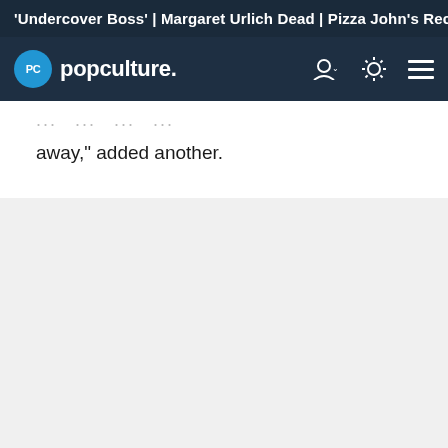'Undercover Boss' | Margaret Urlich Dead | Pizza John's Reca
PC popculture.
away," added another.